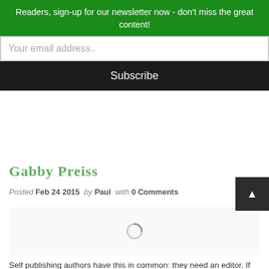Readers, sign-up for our newsletter now - don't miss the great content!
Your email address..
Subscribe
Gabby Preis
Posted Feb 24 2015  by Paul  with 0 Comments
[Figure (other): Loading spinner / image placeholder]
Self publishing authors have this in common: they need an editor. If there were one piece of advice I'd give …